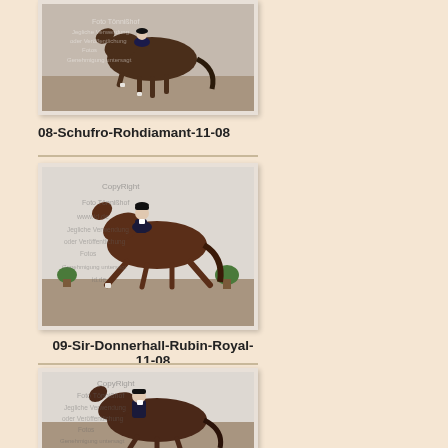[Figure (photo): Dressage horse and rider performing in an indoor arena. Watermarked photo with copyright text overlay.]
08-Schufro-Rohdiamant-11-08
[Figure (photo): Dressage horse and rider in extended trot in an indoor arena. Watermarked photo with copyright text overlay.]
09-Sir-Donnerhall-Rubin-Royal-11-08
[Figure (photo): Dressage horse and rider performing, partially visible at bottom of page. Watermarked photo with copyright text overlay.]